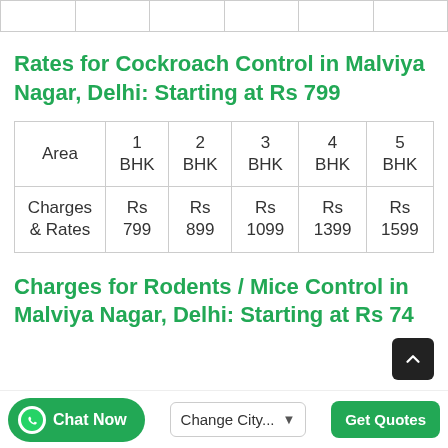|  |
Rates for Cockroach Control in Malviya Nagar, Delhi: Starting at Rs 799
| Area | 1 BHK | 2 BHK | 3 BHK | 4 BHK | 5 BHK |
| --- | --- | --- | --- | --- | --- |
| Charges & Rates | Rs 799 | Rs 899 | Rs 1099 | Rs 1399 | Rs 1599 |
Charges for Rodents / Mice Control in Malviya Nagar, Delhi: Starting at Rs 74...